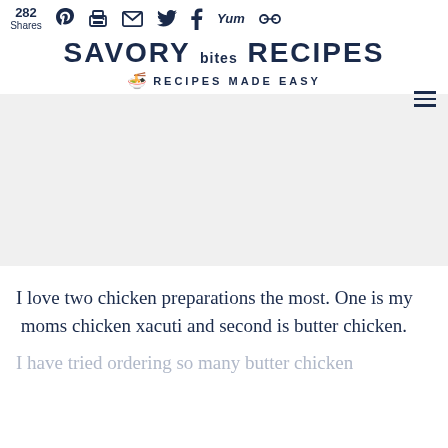282 Shares — SAVORY bites RECIPES — RECIPES MADE EASY
[Figure (photo): Gray placeholder image area for recipe photo]
I love two chicken preparations the most. One is my  moms chicken xacuti and second is butter chicken.
I have tried ordering so many butter chicken